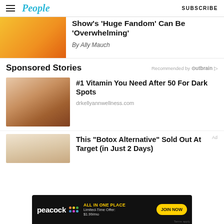People | SUBSCRIBE
Show's 'Huge Fandom' Can Be 'Overwhelming'
By Ally Mauch
Sponsored Stories
Recommended by Outbrain
#1 Vitamin You Need After 50 For Dark Spots
drkellyannwellness.com
This “Botox Alternative” Sold Out At Target (in Just 2 Days)
[Figure (screenshot): Peacock streaming service advertisement banner: ALL IN ONE PLACE, Limited-Time Offer: $1.99/mo, JOIN NOW button]